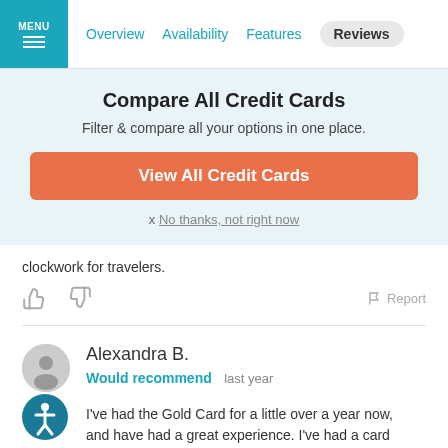MENU | Overview | Availability | Features | Reviews
Compare All Credit Cards
Filter & compare all your options in one place.
View All Credit Cards
x No thanks, not right now
clockwork for travelers.
Alexandra B.
Would recommend   last year
I've had the Gold Card for a little over a year now, and have had a great experience. I've had a card